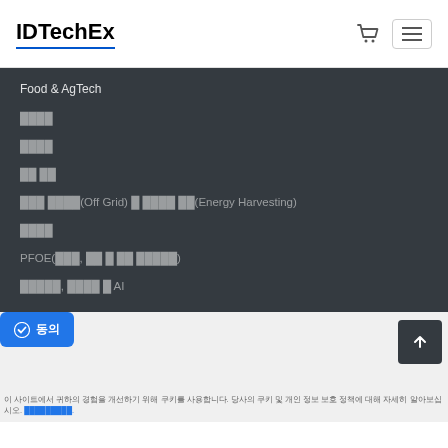IDTechEx
Food & AgTech
████
████
██ ██
███ ████(Off Grid) █ ████ ██(Energy Harvesting)
████
PFOE(███, ██ █ ██ █████)
█████, ████ █ AI
✓ 동의  이 사이트에서 귀하의 경험을 개선하기 위해 쿠키를 사용합니다. 당사의 쿠키 및 개인 정보 보호 정책에 대해 자세히 알아보십시오.